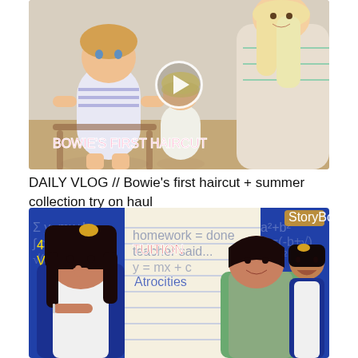[Figure (screenshot): YouTube video thumbnail showing two young children and a blonde woman, with text 'BOWIE'S FIRST HAIRCUT' in pink italic letters and a play button overlay]
DAILY VLOG // Bowie's first haircut + summer collection try on haul
[Figure (screenshot): YouTube video thumbnail for 'Tuition Atrocities' showing a young Indian girl with finger on lips, a woman, and another girl laughing, with '4M+ VIEWS' badge and bold red text 'TUITION' and blue cursive 'Atrocities' on a notebook background]